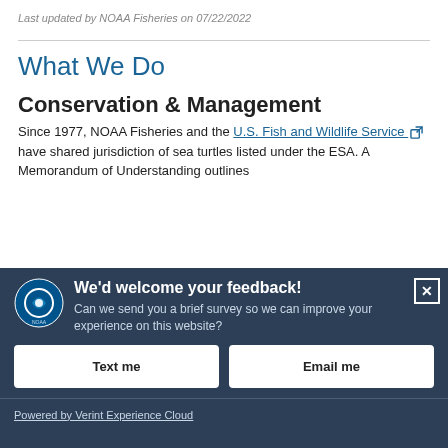Last updated by NOAA Fisheries on 07/22/2022
What We Do
Conservation & Management
Since 1977, NOAA Fisheries and the U.S. Fish and Wildlife Service have shared jurisdiction of sea turtles listed under the ESA. A Memorandum of Understanding outlines
[Figure (screenshot): NOAA feedback modal overlay with dark blue background. Contains NOAA logo, bold title 'We'd welcome your feedback!', subtitle 'Can we send you a brief survey so we can improve your experience on this website?', two buttons labeled 'Text me' and 'Email me', and a footer link 'Powered by Verint Experience Cloud'. Close button (X) in top-right corner.]